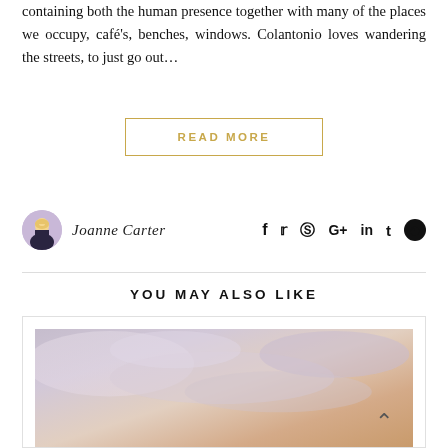containing both the human presence together with many of the places we occupy, café's, benches, windows. Colantonio loves wandering the streets, to just go out...
READ MORE
Joanne Carter
YOU MAY ALSO LIKE
[Figure (photo): A soft, dreamy sky photo with muted pink, lavender and warm golden tones — appears to be clouds or a hazy sunset sky used as a thumbnail image in a 'You May Also Like' card.]